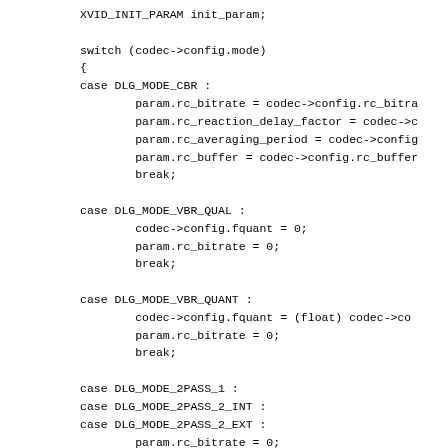XVID_INIT_PARAM init_param;

switch (codec->config.mode)
{
case DLG_MODE_CBR :
        param.rc_bitrate = codec->config.rc_bitra
        param.rc_reaction_delay_factor = codec->c
        param.rc_averaging_period = codec->config
        param.rc_buffer = codec->config.rc_buffer
        break;

case DLG_MODE_VBR_QUAL :
        codec->config.fquant = 0;
        param.rc_bitrate = 0;
        break;

case DLG_MODE_VBR_QUANT :
        codec->config.fquant = (float) codec->co
        param.rc_bitrate = 0;
        break;

case DLG_MODE_2PASS_1 :
case DLG_MODE_2PASS_2_INT :
case DLG_MODE_2PASS_2_EXT :
        param.rc_bitrate = 0;
        codec->twopass.max_framesize = (int)((dou
        break;

case DLG_MODE_NULL :
        return TCERR_OK;